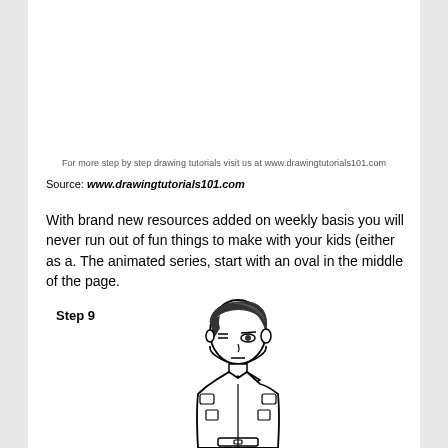For more step by step drawing tutorials visit us at www.drawingtutorials101.com
Source: www.drawingtutorials101.com
With brand new resources added on weekly basis you will never run out of fun things to make with your kids (either as a. The animated series, start with an oval in the middle of the page.
Step 9
[Figure (illustration): Anime-style character drawing of a young male figure with dark hair covering one eye, wearing a military-style uniform with a tie and shoulder patches, shown from the waist up. Step 9 of a drawing tutorial.]